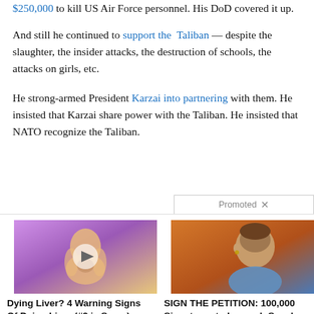$250,000 to kill US Air Force personnel. His DoD covered it up.
And still he continued to support the Taliban — despite the slaughter, the insider attacks, the destruction of schools, the attacks on girls, etc.
He strong-armed President Karzai into partnering with them. He insisted that Karzai share power with the Taliban. He insisted that NATO recognize the Taliban.
Promoted
[Figure (photo): Illustrated image of a person's back with a play button overlay, used in an advertisement for liver warning signs]
Dying Liver? 4 Warning Signs Of Dying Liver (#2 is Scary)
🔥 3,934
[Figure (photo): Photo of a woman (Nancy Pelosi) against an orange background, used in a petition advertisement]
SIGN THE PETITION: 100,000 Signatures to Impeach Speaker Nancy Pelosi
🔥 52,564